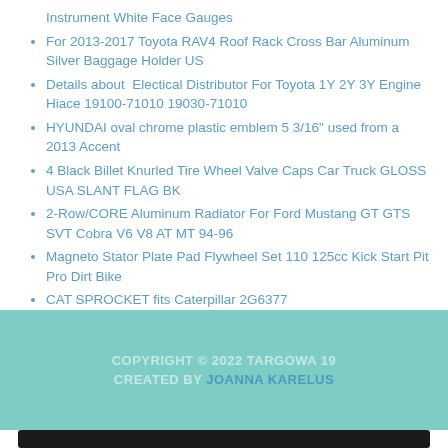Instrument White Face Gauges
For 2013-2017 Toyota RAV4 Roof Rack Cross Bar Aluminum Silver Baggage Holder US
Details about  Electical Distributor For Toyota 1Y 2Y 3Y Engine Hiace 19100-71010 19030-71010
HYUNDAI oval chrome plastic emblem 5 3/16" used from a 2013 Accent
4 Black Billet Knurled Tire Wheel Valve Caps Car Truck GLOSS USA SLANT FLAG BK
2-Row/CORE Aluminum Radiator For Ford Mustang GT GTS SVT Cobra V6 V8 AT MT 94-96
Magneto Stator Plate Pad Flywheel Set 110 125cc Kick Start Pit Pro Dirt Bike
CAT SPROCKET fits Caterpillar 2G6377
3 Black Billet Fairing Windshield Bolts for 93-13 Harley TATTOO GIRL B PGW
COPYRIGHT © 2022 TARGOWA 19
CREATED BY JOANNA KARELUS